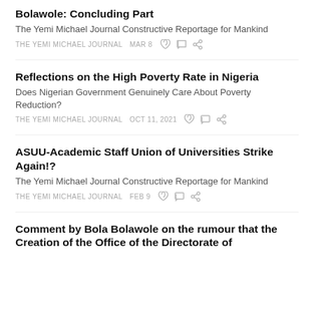Bolawole: Concluding Part
The Yemi Michael Journal Constructive Reportage for Mankind
THE YEMI MICHAEL JOURNAL   MAR 8
Reflections on the High Poverty Rate in Nigeria
Does Nigerian Government Genuinely Care About Poverty Reduction?
THE YEMI MICHAEL JOURNAL   OCT 11, 2021
ASUU-Academic Staff Union of Universities Strike Again!?
The Yemi Michael Journal Constructive Reportage for Mankind
THE YEMI MICHAEL JOURNAL   FEB 9
Comment by Bola Bolawole on the rumour that the Creation of the Office of the Directorate of